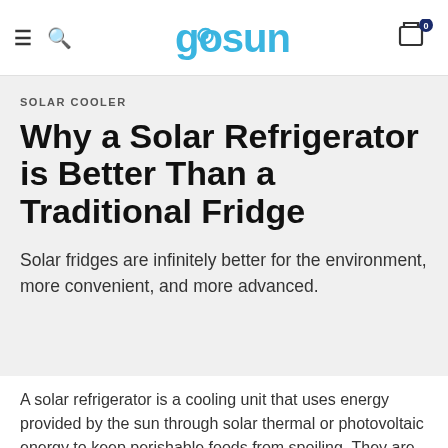gosun
SOLAR COOLER
Why a Solar Refrigerator is Better Than a Traditional Fridge
Solar fridges are infinitely better for the environment, more convenient, and more advanced.
A solar refrigerator is a cooling unit that uses energy provided by the sun through solar thermal or photovoltaic energy to keep perishable foods from spoiling. They are growing in popularity due to advances in lithium ion